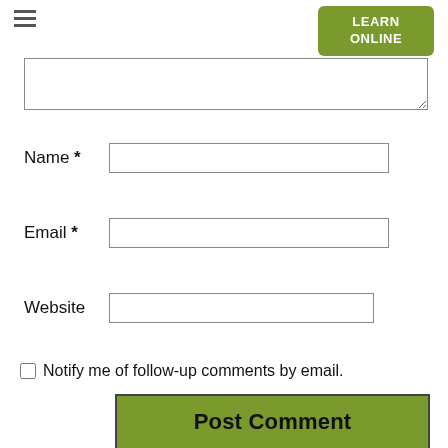[Figure (screenshot): Hamburger menu icon (three horizontal lines) in top left]
LEARN ONLINE
Name *
Email *
Website
Notify me of follow-up comments by email.
Post Comment
This site uses Akismet to reduce spam. Learn how your comment data is processed.